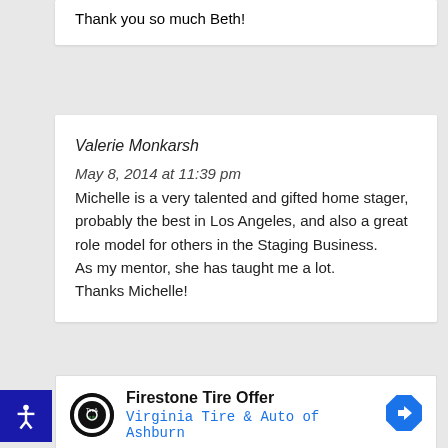Thank you so much Beth!
Valerie Monkarsh
May 8, 2014 at 11:39 pm
Michelle is a very talented and gifted home stager, probably the best in Los Angeles, and also a great role model for others in the Staging Business.
As my mentor, she has taught me a lot.
Thanks Michelle!
[Figure (infographic): Advertisement for Firestone Tire Offer featuring Virginia Tire & Auto of Ashburn with logo and directional arrow icon.]